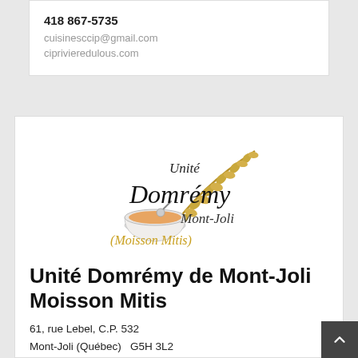418 867-5735
cuisinesccip@gmail.com
ciprivieredulous.com
[Figure (logo): Unité Domrémy Mont-Joli (Moisson Mitis) logo with wheat stalk and soup bowl illustration]
Unité Domrémy de Mont-Joli Moisson Mitis
61, rue Lebel, C.P. 532
Mont-Joli (Québec)  G5H 3L2